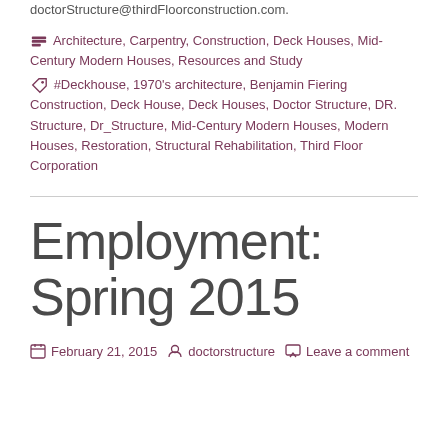doctorStructure@thirdFloorconstruction.com.
Categories: Architecture, Carpentry, Construction, Deck Houses, Mid-Century Modern Houses, Resources and Study
Tags: #Deckhouse, 1970's architecture, Benjamin Fiering Construction, Deck House, Deck Houses, Doctor Structure, DR. Structure, Dr_Structure, Mid-Century Modern Houses, Modern Houses, Restoration, Structural Rehabilitation, Third Floor Corporation
Employment: Spring 2015
February 21, 2015  doctorstructure  Leave a comment